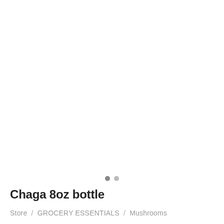[Figure (photo): Product image area for Chaga 8oz bottle, white background, image not visible]
Chaga 8oz bottle
Store / GROCERY ESSENTIALS / Mushrooms